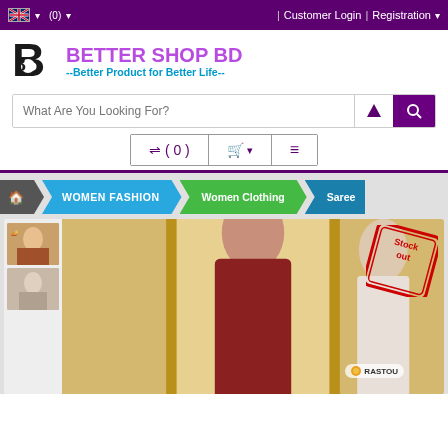Better Shop BD - Customer Login | Registration
[Figure (logo): Better Shop BD logo with stylized B icon and text 'BETTER SHOP BD -- Better Product for Better Life --']
What Are You Looking For?
⇌(0) 🛒 ≡
[Figure (screenshot): Product page showing breadcrumb: Home > WOMEN FASHION > Women Clothing > Saree, with product image of women in sarees, stockout badge, and Rastou watermark.]